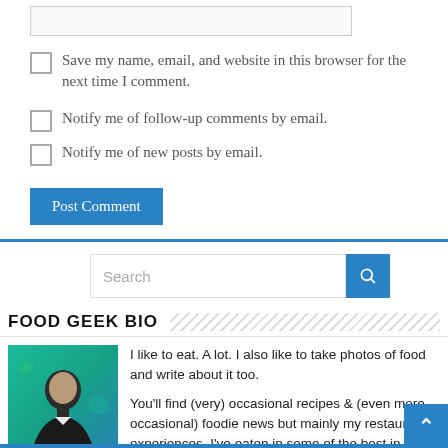Save my name, email, and website in this browser for the next time I comment.
Notify me of follow-up comments by email.
Notify me of new posts by email.
Post Comment
Search
FOOD GEEK BIO
[Figure (photo): Portrait photo of a man in a dark suit against a teal/green bokeh background]
I like to eat. A lot. I also like to take photos of food and write about it too.

You'll find (very) occasional recipes & (even more occasional) foodie news but mainly my restaurant experiences. I've eaten in some of the best in the world as well as 100's in Manchester & the North West.